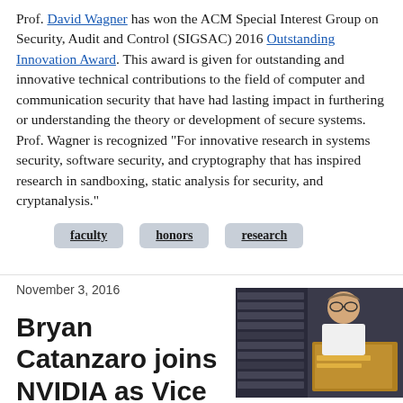Prof. David Wagner has won the ACM Special Interest Group on Security, Audit and Control (SIGSAC) 2016 Outstanding Innovation Award. This award is given for outstanding and innovative technical contributions to the field of computer and communication security that have had lasting impact in furthering or understanding the theory or development of secure systems. Prof. Wagner is recognized "For innovative research in systems security, software security, and cryptography that has inspired research in sandboxing, static analysis for security, and cryptanalysis."
faculty
honors
research
November 3, 2016
Bryan Catanzaro joins NVIDIA as Vice
[Figure (photo): Photo of Bryan Catanzaro seated in front of computer/server equipment, wearing glasses and a white shirt.]